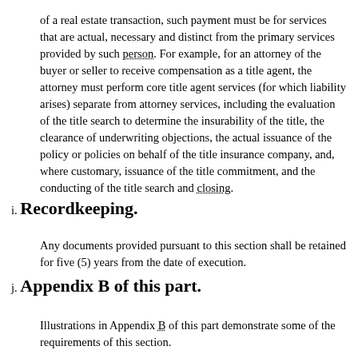of a real estate transaction, such payment must be for services that are actual, necessary and distinct from the primary services provided by such person. For example, for an attorney of the buyer or seller to receive compensation as a title agent, the attorney must perform core title agent services (for which liability arises) separate from attorney services, including the evaluation of the title search to determine the insurability of the title, the clearance of underwriting objections, the actual issuance of the policy or policies on behalf of the title insurance company, and, where customary, issuance of the title commitment, and the conducting of the title search and closing.
i. Recordkeeping.
Any documents provided pursuant to this section shall be retained for five (5) years from the date of execution.
j. Appendix B of this part.
Illustrations in Appendix B of this part demonstrate some of the requirements of this section.